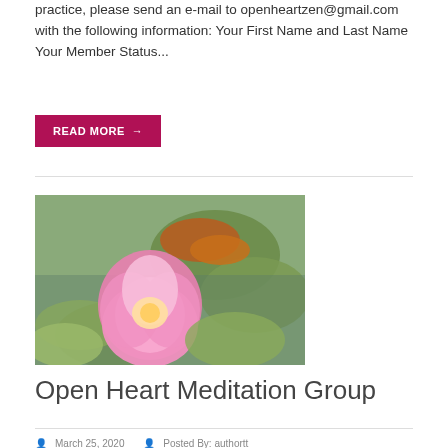practice, please send an e-mail to openheartzen@gmail.com with the following information: Your First Name and Last Name Your Member Status...
READ MORE →
[Figure (photo): A pink lotus/water lily flower blooming on a pond with lily pads and koi fish visible in the background]
Open Heart Meditation Group
March 25, 2020 | Posted By: authortt